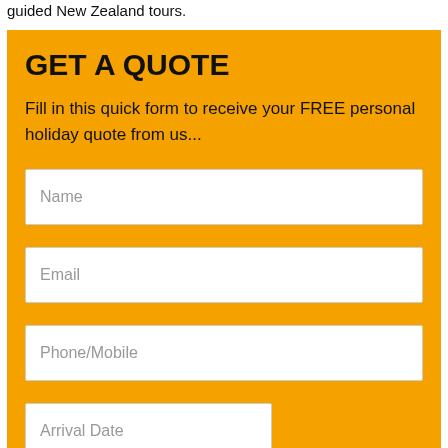guided New Zealand tours.
GET A QUOTE
Fill in this quick form to receive your FREE personal holiday quote from us...
Name
Email
Phone/Mobile
Arrival Date